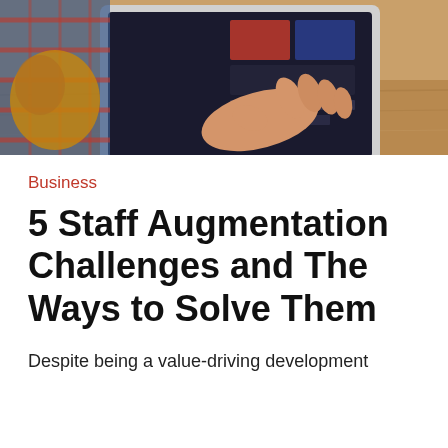[Figure (photo): A person's hand gesturing open-palmed near a laptop computer on a wooden desk, with a plaid sleeve visible on the left side.]
Business
5 Staff Augmentation Challenges and The Ways to Solve Them
Despite being a value-driving development